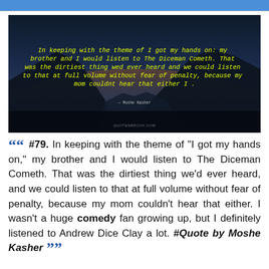[Figure (photo): Dark mountain landscape background with yellow italic text quote: 'In keeping with the theme of I got my hands on: my brother and I would listen to The Diceman Cometh. That was the dirtiest thing wed ever heard and we could listen to that at full volume without fear of penalty, because my mom couldnt hear that either I' — attributed to Moshe Kasher, with quotesbrook.com watermark]
#79. In keeping with the theme of "I got my hands on," my brother and I would listen to The Diceman Cometh. That was the dirtiest thing we'd ever heard, and we could listen to that at full volume without fear of penalty, because my mom couldn't hear that either. I wasn't a huge comedy fan growing up, but I definitely listened to Andrew Dice Clay a lot. #Quote by Moshe Kasher